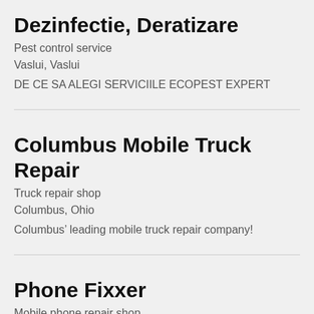Dezinfectie, Deratizare
Pest control service
Vaslui, Vaslui
DE CE SA ALEGI SERVICIILE ECOPEST EXPERT
Columbus Mobile Truck Repair
Truck repair shop
Columbus, Ohio
Columbus’ leading mobile truck repair company!
Phone Fixxer
Mobile phone repair shop